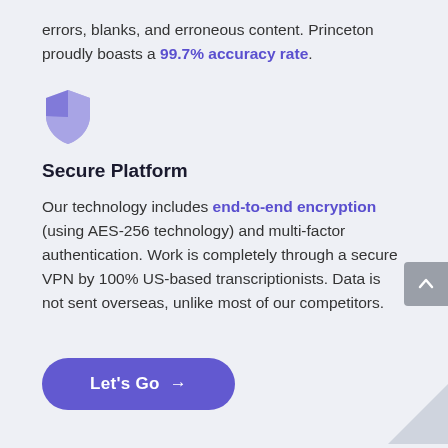errors, blanks, and erroneous content. Princeton proudly boasts a 99.7% accuracy rate.
[Figure (illustration): Purple shield icon with a checkmark-like design (quartered shield in purple and white)]
Secure Platform
Our technology includes end-to-end encryption (using AES-256 technology) and multi-factor authentication. Work is completely through a secure VPN by 100% US-based transcriptionists. Data is not sent overseas, unlike most of our competitors.
Let's Go →